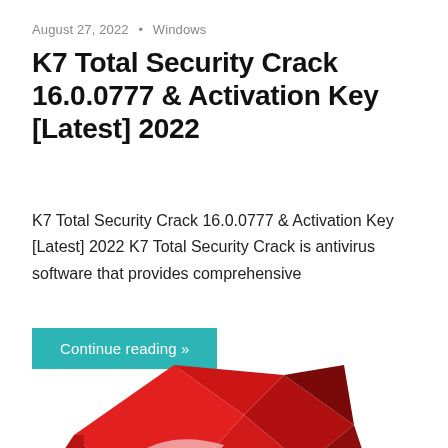August 27, 2022 • Windows
K7 Total Security Crack 16.0.0777 & Activation Key [Latest] 2022
K7 Total Security Crack 16.0.0777 & Activation Key [Latest] 2022 K7 Total Security Crack is antivirus software that provides comprehensive
Continue reading »
[Figure (illustration): Red geometric gem/ruby illustration with faceted polygonal surfaces in red and dark red tones, partially visible at bottom of page]